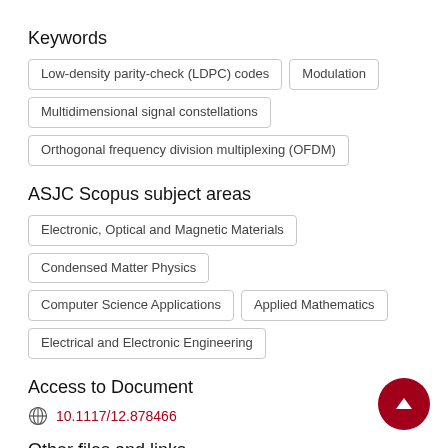Keywords
Low-density parity-check (LDPC) codes
Modulation
Multidimensional signal constellations
Orthogonal frequency division multiplexing (OFDM)
ASJC Scopus subject areas
Electronic, Optical and Magnetic Materials
Condensed Matter Physics
Computer Science Applications
Applied Mathematics
Electrical and Electronic Engineering
Access to Document
10.1117/12.878466
Other files and links
Link to publication in Scopus